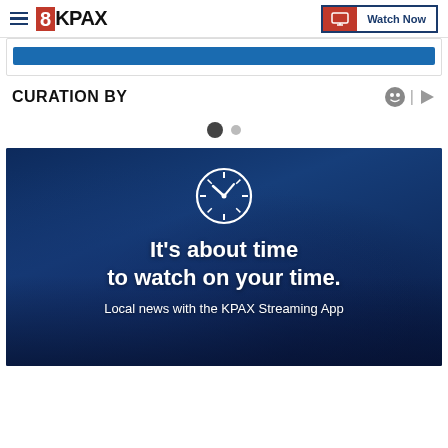8KPAX | Watch Now
[Figure (screenshot): Blue navigation bar/button area]
CURATION BY
[Figure (other): Pagination dots - one large dark dot and one small grey dot]
[Figure (illustration): KPAX Streaming App promotional banner with clock icon. Text reads: It's about time to watch on your time. Local news with the KPAX Streaming App]